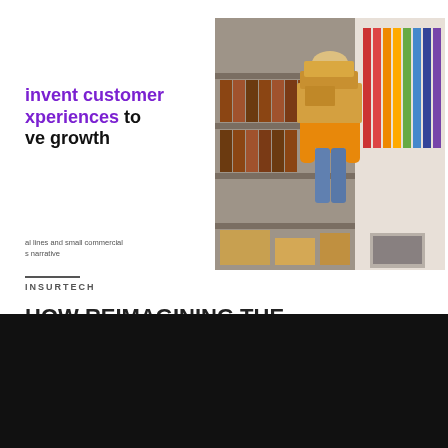invent customer experiences to drive growth
[Figure (photo): Woman in orange shirt carrying stacked cardboard boxes in a warehouse/stockroom with shelves of binders and hanging clothes in background]
al lines and small commercial s narrative
INSURTECH
HOW REIMAGINING THE END-TO-END CUSTOMER EXPERIENCE CAN DRIVE
This site uses functional cookies and external scripts to improve your experience.  More Information
Accept All